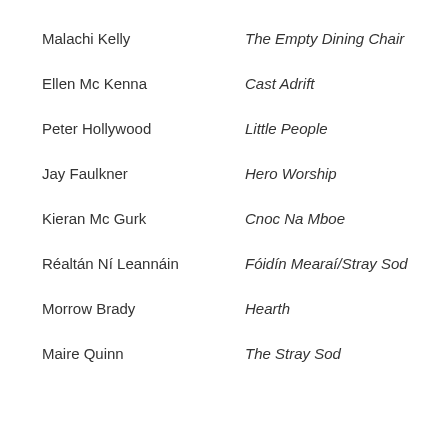Malachi Kelly — The Empty Dining Chair
Ellen Mc Kenna — Cast Adrift
Peter Hollywood — Little People
Jay Faulkner — Hero Worship
Kieran Mc Gurk — Cnoc Na Mboe
Réaltán Ní Leannáin — Fóidín Mearaí/Stray Sod
Morrow Brady — Hearth
Maire Quinn — The Stray Sod